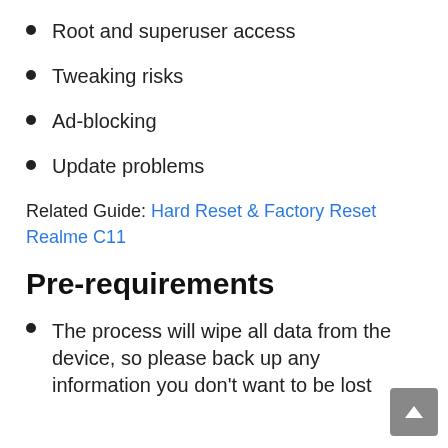Root and superuser access
Tweaking risks
Ad-blocking
Update problems
Related Guide: Hard Reset & Factory Reset Realme C11
Pre-requirements
The process will wipe all data from the device, so please back up any information you don't want to be lost